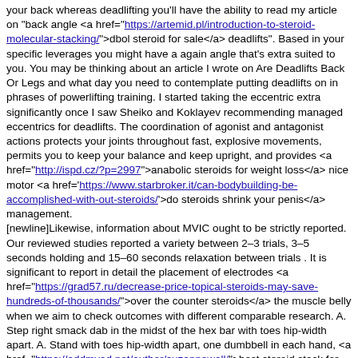your back whereas deadlifting you'll have the ability to read my article on "back angle <a href="https://artemid.pl/introduction-to-steroid-molecular-stacking/">dbol steroid for sale</a> deadlifts". Based in your specific leverages you might have a again angle that's extra suited to you. You may be thinking about an article I wrote on Are Deadlifts Back Or Legs and what day you need to contemplate putting deadlifts on in phrases of powerlifting training. I started taking the eccentric extra significantly once I saw Sheiko and Koklayev recommending managed eccentrics for deadlifts. The coordination of agonist and antagonist actions protects your joints throughout fast, explosive movements, permits you to keep your balance and keep upright, and provides <a href="http://ispd.cz/?p=2997">anabolic steroids for weight loss</a> nice motor <a href='https://www.starbroker.it/can-bodybuilding-be-accomplished-with-out-steroids/'>do steroids shrink your penis</a> management.
[newline]Likewise, information about MVIC ought to be strictly reported. Our reviewed studies reported a variety between 2–3 trials, 3–5 seconds holding and 15–60 seconds relaxation between trials . It is significant to report in detail the placement of electrodes <a href="https://grad57.ru/decrease-price-topical-steroids-may-save-hundreds-of-thousands/">over the counter steroids</a> the muscle belly when we aim to check outcomes with different comparable research. A. Step right smack dab in the midst of the hex bar with toes hip-width apart. A. Stand with toes hip-width apart, one dumbbell in each hand, <a href="https://addmyad.net/author/suzannewall/">best steroid stack for weight loss</a> palms dealing with thighs. Place one foot a foot-length in entrance of the other, toe on the floor, so your stance is staggered. <h3 id="toc-4">Sumo Deadlift Grip</h3> The deadlift must be done earlier in a session if the first emphasis is on power and/or muscle hypertrophy. However, <a href="https://swallenlawhun.com/prednisone-and-other-corticosteroids/">supplement like steroids</a> most coaching programming,